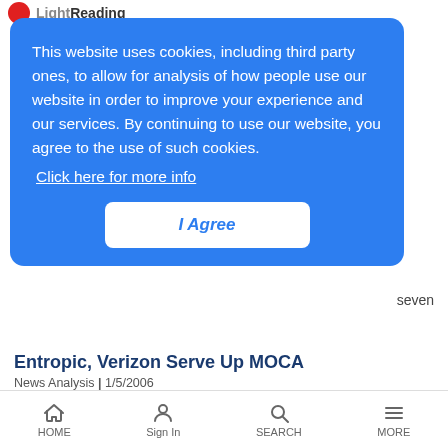LightReading
This website uses cookies, including third party ones, to allow for analysis of how people use our website in order to improve your experience and our services. By continuing to use our website, you agree to the use of such cookies.
Click here for more info
I Agree
seven
Entropic, Verizon Serve Up MOCA
News Analysis | 1/5/2006
Chip startup raises $25M, while its pet standard for in-home broadband gets a nod from Verizon
Mega BSNL Contract Looms
News Analysis | 1/5/2006
HOME  Sign In  SEARCH  MORE